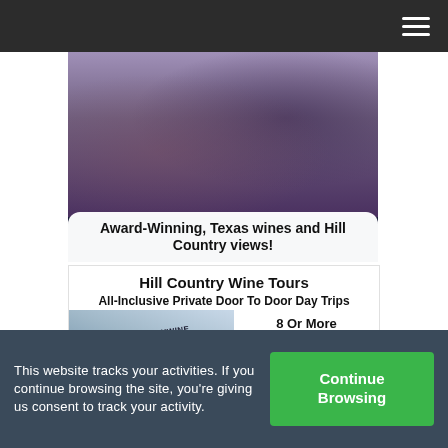Navigation bar with hamburger menu
[Figure (photo): Photo of two people holding wine glasses with a bottle on a table outdoors, overlaid with text 'Award-Winning, Texas wines and Hill Country views!']
[Figure (photo): Advertisement for Hill Country Wine Tours showing a tour van with text overlay. Title: Hill Country Wine Tours. Subtitle: All-Inclusive Private Door To Door Day Trips. 8 Or More. Phone: 512-815-1900. Serving Central Texas.]
This website tracks your activities. If you continue browsing the site, you're giving us consent to track your activity.
Continue Browsing